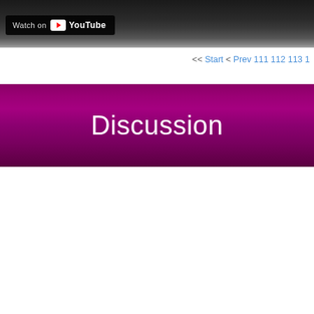[Figure (screenshot): YouTube 'Watch on YouTube' badge overlay on a dark video player bar]
<< Start < Prev 111 112 113 1
Discussion